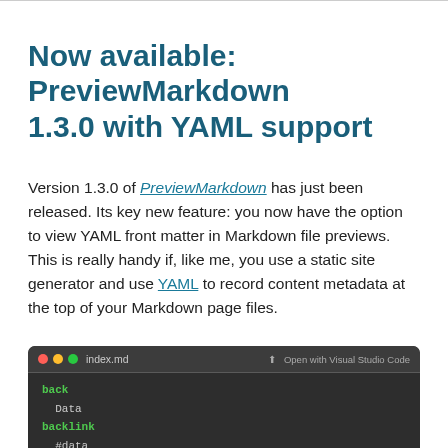Now available: PreviewMarkdown 1.3.0 with YAML support
Version 1.3.0 of PreviewMarkdown has just been released. Its key new feature: you now have the option to view YAML front matter in Markdown file previews. This is really handy if, like me, you use a static site generator and use YAML to record content metadata at the top of your Markdown page files.
[Figure (screenshot): Screenshot of a dark-themed file preview window showing index.md with YAML front matter. The titlebar shows 'index.md' and 'Open with Visual Studio Code'. The content shows YAML keys: back (Data), backlink (#data), content_type (data...) in green monospace text on dark background.]